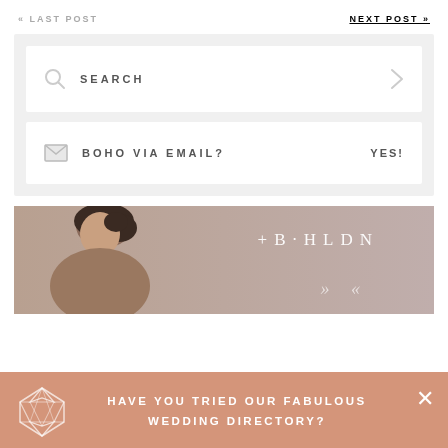« LAST POST
NEXT POST »
SEARCH
BOHO VIA EMAIL? YES!
[Figure (photo): BHLDN bridal advertisement showing a woman with dark upswept hair and the BHLDN logo]
HAVE YOU TRIED OUR FABULOUS WEDDING DIRECTORY?